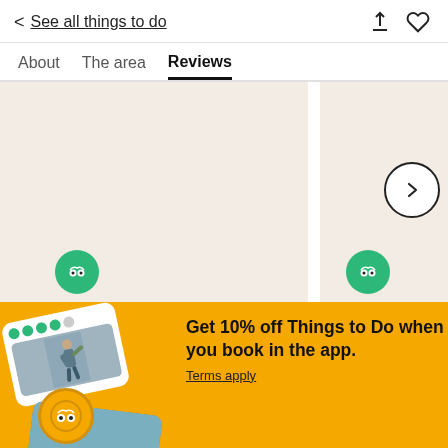< See all things to do
About   The area   Reviews
[Figure (screenshot): Map area showing beige/tan map background with two TripAdvisor green owl icons at the bottom, a vertical white divider splitting the view, and a circular arrow navigation button on the right side.]
[Figure (illustration): Promotional banner overlay with yellow/amber background. Shows two tilted card images (one with rating dots and a hiker photo, one with beach photo), a TripAdvisor badge, and promotional text.]
Get 10% off Things to Do when you book in the app.
Terms apply
Use code: APP10
Shop now